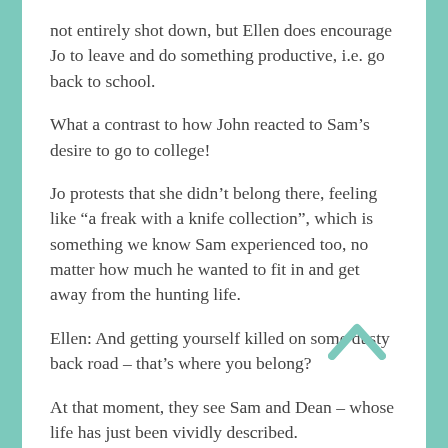not entirely shot down, but Ellen does encourage Jo to leave and do something productive, i.e. go back to school.
What a contrast to how John reacted to Sam’s desire to go to college!
Jo protests that she didn’t belong there, feeling like “a freak with a knife collection”, which is something we know Sam experienced too, no matter how much he wanted to fit in and get away from the hunting life.
Ellen: And getting yourself killed on some dusty back road – that’s where you belong?
At that moment, they see Sam and Dean – whose life has just been vividly described.